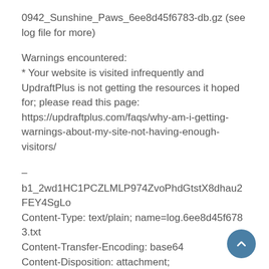0942_Sunshine_Paws_6ee8d45f6783-db.gz (see log file for more)
Warnings encountered:
* Your website is visited infrequently and UpdraftPlus is not getting the resources it hoped for; please read this page: https://updraftplus.com/faqs/why-am-i-getting-warnings-about-my-site-not-having-enough-visitors/
–
b1_2wd1HC1PCZLMLP974ZvoPhdGtstX8dhau2FEY4SgLo
Content-Type: text/plain; name=log.6ee8d45f6783.txt
Content-Transfer-Encoding: base64
Content-Disposition: attachment; filename=log.6ee8d45f6783.txt